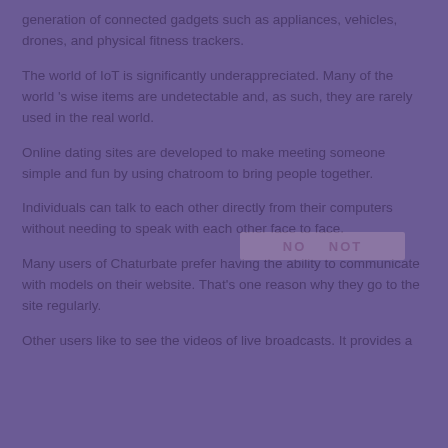generation of connected gadgets such as appliances, vehicles, drones, and physical fitness trackers.
The world of IoT is significantly underappreciated. Many of the world 's wise items are undetectable and, as such, they are rarely used in the real world.
Online dating sites are developed to make meeting someone simple and fun by using chatroom to bring people together.
Individuals can talk to each other directly from their computers without needing to speak with each other face to face.
Many users of Chaturbate prefer having the ability to communicate with models on their website. That's one reason why they go to the site regularly.
Other users like to see the videos of live broadcasts. It provides a